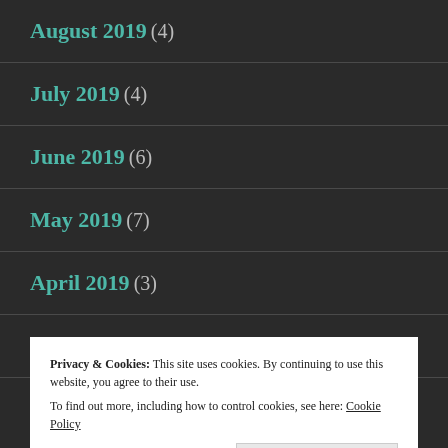August 2019 (4)
July 2019 (4)
June 2019 (6)
May 2019 (7)
April 2019 (3)
March 2019 (8)
Privacy & Cookies: This site uses cookies. By continuing to use this website, you agree to their use.
To find out more, including how to control cookies, see here: Cookie Policy
Close and accept
February 2018 (x)